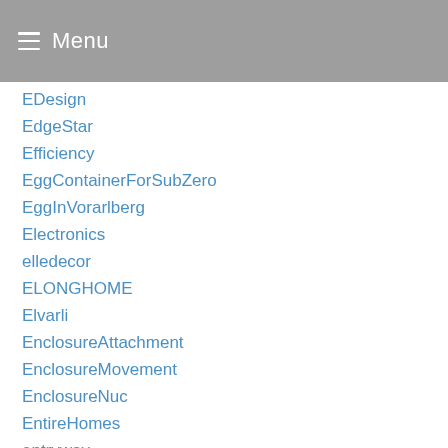Menu
EDesign
EdgeStar
Efficiency
EggContainerForSubZero
EggInVorarlberg
Electronics
elledecor
ELONGHOME
Elvarli
EnclosureAttachment
EnclosureMovement
EnclosureNuc
EntireHomes
entryway
EntrywayStorage
EnvironmentalAllergies
EnvironmentalTechnology